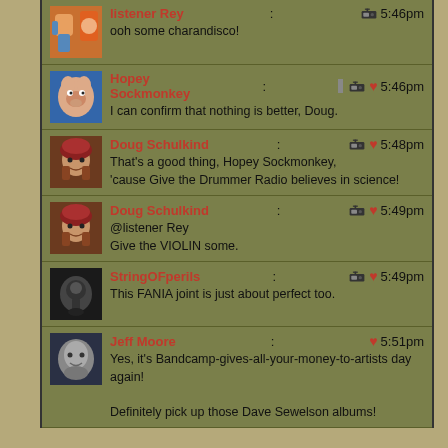listener Rey: ooh some charandisco! 5:46pm
Hopey Sockmonkey: I can confirm that nothing is better, Doug. 5:46pm
Doug Schulkind: That's a good thing, Hopey Sockmonkey, 'cause Give the Drummer Radio believes in science! 5:48pm
Doug Schulkind: @listener Rey Give the VIOLIN some. 5:49pm
StringOFperils: This FANIA joint is just about perfect too. 5:49pm
Jeff Moore: Yes, it's Bandcamp-gives-all-your-money-to-artists day again! Definitely pick up those Dave Sewelson albums! 5:51pm